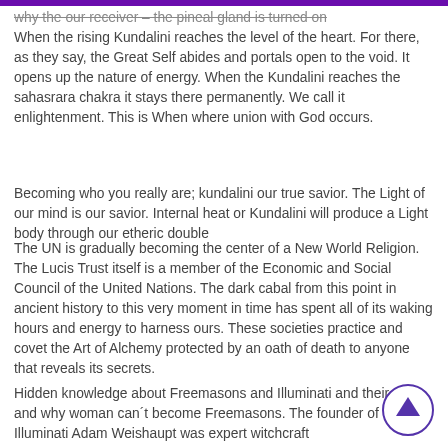why the our receiver – the pineal gland is turned on When the rising Kundalini reaches the level of the heart. For there, as they say, the Great Self abides and portals open to the void. It opens up the nature of energy. When the Kundalini reaches the sahasrara chakra it stays there permanently. We call it enlightenment. This is When where union with God occurs.
Becoming who you really are; kundalini our true savior. The Light of our mind is our savior. Internal heat or Kundalini will produce a Light body through our etheric double
The UN is gradually becoming the center of a New World Religion. The Lucis Trust itself is a member of the Economic and Social Council of the United Nations. The dark cabal from this point in ancient history to this very moment in time has spent all of its waking hours and energy to harness ours. These societies practice and covet the Art of Alchemy protected by an oath of death to anyone that reveals its secrets.
Hidden knowledge about Freemasons and Illuminati and their plans, and why woman can´t become Freemasons. The founder of Illuminati Adam Weishaupt was expert witchcraft